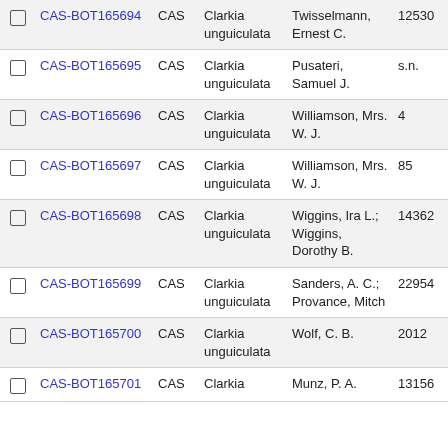|  | ID | Inst | Taxon | Collector | Number |
| --- | --- | --- | --- | --- | --- |
| ☐ | CAS-BOT165694 | CAS | Clarkia unguiculata | Twisselmann, Ernest C. | 12530 |
| ☐ | CAS-BOT165695 | CAS | Clarkia unguiculata | Pusateri, Samuel J. | s.n. |
| ☐ | CAS-BOT165696 | CAS | Clarkia unguiculata | Williamson, Mrs. W. J. | 4 |
| ☐ | CAS-BOT165697 | CAS | Clarkia unguiculata | Williamson, Mrs. W. J. | 85 |
| ☐ | CAS-BOT165698 | CAS | Clarkia unguiculata | Wiggins, Ira L.; Wiggins, Dorothy B. | 14362 |
| ☐ | CAS-BOT165699 | CAS | Clarkia unguiculata | Sanders, A. C.; Provance, Mitch | 22954 |
| ☐ | CAS-BOT165700 | CAS | Clarkia unguiculata | Wolf, C. B. | 2012 |
| ☐ | CAS-BOT165701 | CAS | Clarkia | Munz, P. A. | 13156 |